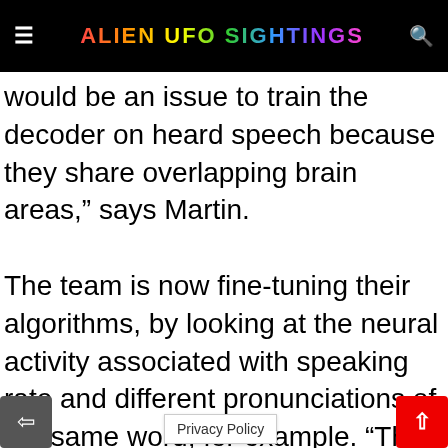ALIEN UFO SIGHTINGS
would be an issue to train the decoder on heard speech because they share overlapping brain areas,” says Martin.
The team is now fine-tuning their algorithms, by looking at the neural activity associated with speaking rate and different pronunciations of the same word, for example. “The bar is very high,” says Pasley. “Its preliminary data, an…ll wor…